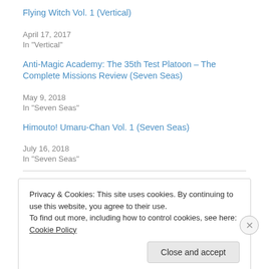Flying Witch Vol. 1 (Vertical)
April 17, 2017
In "Vertical"
Anti-Magic Academy: The 35th Test Platoon – The Complete Missions Review (Seven Seas)
May 9, 2018
In "Seven Seas"
Himouto! Umaru-Chan Vol. 1 (Seven Seas)
July 16, 2018
In "Seven Seas"
Privacy & Cookies: This site uses cookies. By continuing to use this website, you agree to their use.
To find out more, including how to control cookies, see here: Cookie Policy
Close and accept